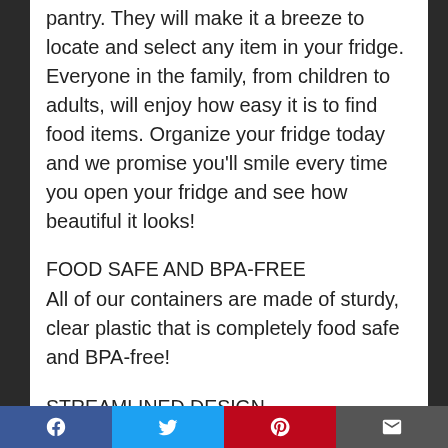pantry. They will make it a breeze to locate and select any item in your fridge. Everyone in the family, from children to adults, will enjoy how easy it is to find food items. Organize your fridge today and we promise you'll smile every time you open your fridge and see how beautiful it looks!
FOOD SAFE AND BPA-FREE
All of our containers are made of sturdy, clear plastic that is completely food safe and BPA-free!
STREAMLINED DESIGN
Facebook | Twitter | Pinterest | Email